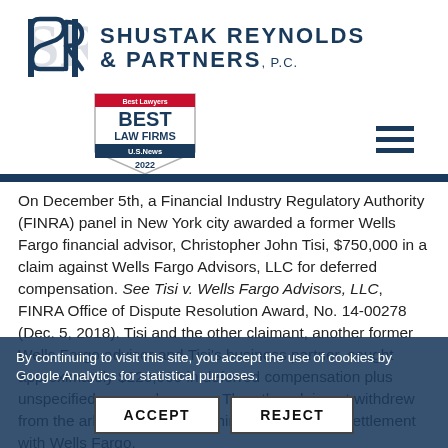[Figure (logo): Shustak Reynolds & Partners, P.C. law firm logo with SR monogram and firm name]
[Figure (logo): Best Lawyers Best Law Firms U.S. News 2022 badge]
On December 5th, a Financial Industry Regulatory Authority (FINRA) panel in New York city awarded a former Wells Fargo financial advisor, Christopher John Tisi, $750,000 in a claim against Wells Fargo Advisors, LLC for deferred compensation. See Tisi v. Wells Fargo Advisors, LLC, FINRA Office of Dispute Resolution Award, No. 14-00278 (Dec. 5, 2018). Tisi and the other claimant, another former Wells Fargo advisor and Tisi's business partner, sought approximately $220,000 in deferred compensation plus unspecified money damages. The other claimant withdrew from the arbitration after reaching a confidential settlement with Wells Fargo.
By continuing to visit this site, you accept the use of cookies by Google Analytics for statistical purposes.
ACCEPT
REJECT